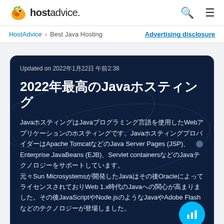hostadvice.
HostAdvice > Best Java Hosting   Advertising disclosure
Updated on 2022年1月22日 午前2:38
2022年最高のJavaホスティング
JavaホスティングはJavaプログラミング言語を使用したWebアプリケーションのホスティングです。JavaホスティングプロバイダーはApache TomcatなどのJava Server Pages (JSP)、Enterprise JavaBeans (EJB)、Servlet containersなどのJavaテクノロジーをサポートしています。元々Sun Microsystemsが開発したJavaはその後OracleによってライセンスされておりWeb 1.x時代のJavaへの関心が高まりました。その後JavaScriptやNode.jsのようなJavaやAdobe Flashなどのテクノロジーが登場しました。